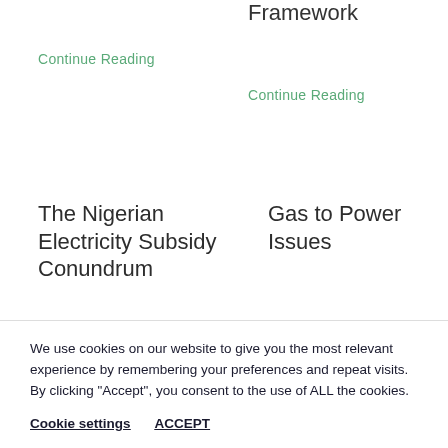Framework
Continue Reading
Continue Reading
The Nigerian Electricity Subsidy Conundrum
Gas to Power Issues
We use cookies on our website to give you the most relevant experience by remembering your preferences and repeat visits. By clicking “Accept”, you consent to the use of ALL the cookies.
Cookie settings
ACCEPT